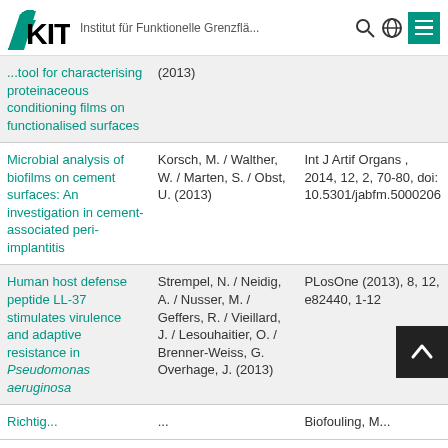KIT — Institut für Funktionelle Grenzflä...
| Title | Authors | Journal |
| --- | --- | --- |
| ...tool for characterising proteinaceous conditioning films on functionalised surfaces | ...(2013) |  |
| Microbial analysis of biofilms on cement surfaces: An investigation in cement-associated peri-implantitis | Korsch, M. / Walther, W. / Marten, S. / Obst, U. (2013) | Int J Artif Organs , 2014, 12, 2, 70-80, doi: 10.5301/jabfm.5000206 |
| Human host defense peptide LL-37 stimulates virulence and adaptive resistance in Pseudomonas aeruginosa | Strempel, N. / Neidig, A. / Nusser, M. / Geffers, R. / Vieillard, J. / Lesouhaitier, O. / Brenner-Weiss, G. Overhage, J. (2013) | PLosOne (2013), 8, 12, e82440, 1-12 |
| Richtig... | ... | Biofouling, M... |